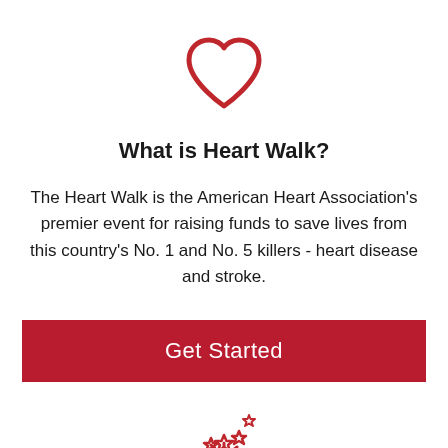[Figure (illustration): Red outline heart icon]
What is Heart Walk?
The Heart Walk is the American Heart Association's premier event for raising funds to save lives from this country's No. 1 and No. 5 killers - heart disease and stroke.
Get Started
[Figure (illustration): Red outline shooting stars / fireworks icon]